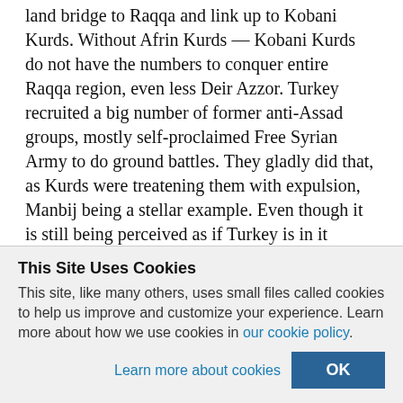land bridge to Raqqa and link up to Kobani Kurds. Without Afrin Kurds — Kobani Kurds do not have the numbers to conquer entire Raqqa region, even less Deir Azzor. Turkey recruited a big number of former anti-Assad groups, mostly self-proclaimed Free Syrian Army to do ground battles. They gladly did that, as Kurds were treatening them with expulsion, Manbij being a stellar example. Even though it is still being perceived as if Turkey is in it against Damascus will, it is a game. Damascus cannot be seen as being against Kurds, its own people — even thouogh Kurds have become US proxy. But Russia helped Turkey by joint
This Site Uses Cookies
This site, like many others, uses small files called cookies to help us improve and customize your experience. Learn more about how we use cookies in our cookie policy.
Learn more about cookies   OK